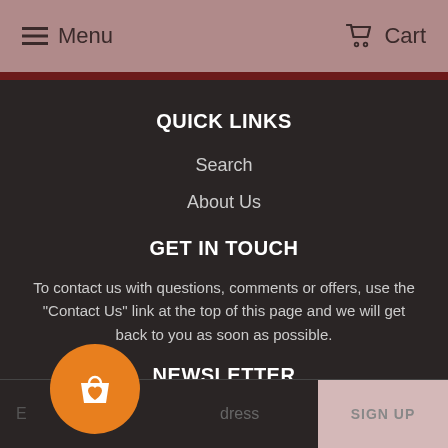Menu   Cart
QUICK LINKS
Search
About Us
GET IN TOUCH
To contact us with questions, comments or offers, use the "Contact Us" link at the top of this page and we will get back to you as soon as possible.
NEWSLETTER
Email address   SIGN UP